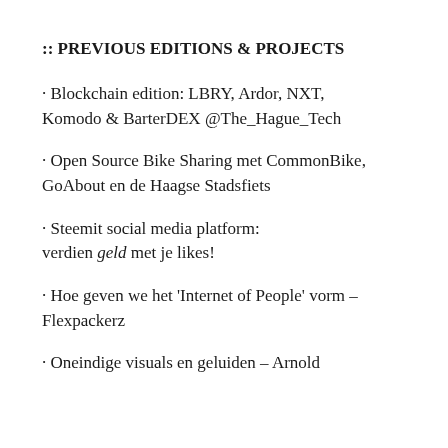:: PREVIOUS EDITIONS & PROJECTS
· Blockchain edition: LBRY, Ardor, NXT, Komodo & BarterDEX @The_Hague_Tech
· Open Source Bike Sharing met CommonBike, GoAbout en de Haagse Stadsfiets
· Steemit social media platform: verdien geld met je likes!
· Hoe geven we het 'Internet of People' vorm – Flexpackerz
· Oneindige visuals en geluiden – Arnold